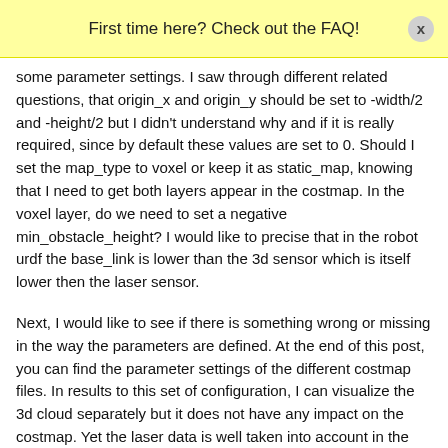First time here? Check out the FAQ!
some parameter settings. I saw through different related questions, that origin_x and origin_y should be set to -width/2 and -height/2 but I didn't understand why and if it is really required, since by default these values are set to 0. Should I set the map_type to voxel or keep it as static_map, knowing that I need to get both layers appear in the costmap. In the voxel layer, do we need to set a negative min_obstacle_height? I would like to precise that in the robot urdf the base_link is lower than the 3d sensor which is itself lower then the laser sensor.
Next, I would like to see if there is something wrong or missing in the way the parameters are defined. At the end of this post, you can find the parameter settings of the different costmap files. In results to this set of configuration, I can visualize the 3d cloud separately but it does not have any impact on the costmap. Yet the laser data is well taken into account in the local costmap where the marking is set to true for both sensors. So I expect to have both sensor data affecting the local costmap. In the global costmap, however, marking is set to true only for the 3d sensor and yet the corresponding data seems not to be included. The voxel_grid topic also seems not